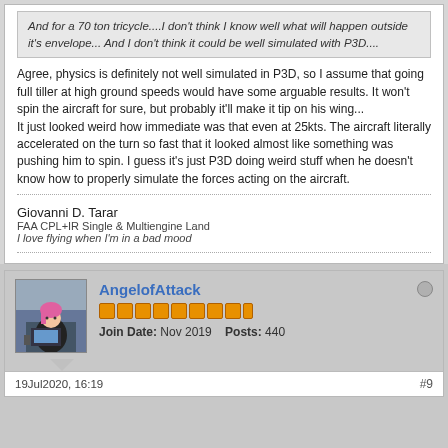And for a 70 ton tricycle....I don't think I know well what will happen outside it's envelope... And I don't think it could be well simulated with P3D....
Agree, physics is definitely not well simulated in P3D, so I assume that going full tiller at high ground speeds would have some arguable results. It won't spin the aircraft for sure, but probably it'll make it tip on his wing...
It just looked weird how immediate was that even at 25kts. The aircraft literally accelerated on the turn so fast that it looked almost like something was pushing him to spin. I guess it's just P3D doing weird stuff when he doesn't know how to properly simulate the forces acting on the aircraft.
Giovanni D. Tarar
FAA CPL+IR Single & Multiengine Land
I love flying when I'm in a bad mood
AngelofAttack
Join Date: Nov 2019    Posts: 440
19Jul2020, 16:19
#9